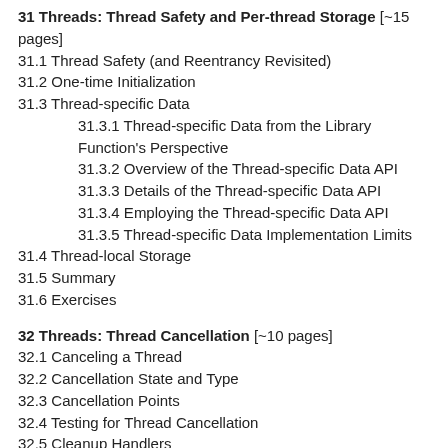31 Threads: Thread Safety and Per-thread Storage [~15 pages]
31.1 Thread Safety (and Reentrancy Revisited)
31.2 One-time Initialization
31.3 Thread-specific Data
31.3.1 Thread-specific Data from the Library Function's Perspective
31.3.2 Overview of the Thread-specific Data API
31.3.3 Details of the Thread-specific Data API
31.3.4 Employing the Thread-specific Data API
31.3.5 Thread-specific Data Implementation Limits
31.4 Thread-local Storage
31.5 Summary
31.6 Exercises
32 Threads: Thread Cancellation [~10 pages]
32.1 Canceling a Thread
32.2 Cancellation State and Type
32.3 Cancellation Points
32.4 Testing for Thread Cancellation
32.5 Cleanup Handlers
32.6 Asynchronous Cancelability